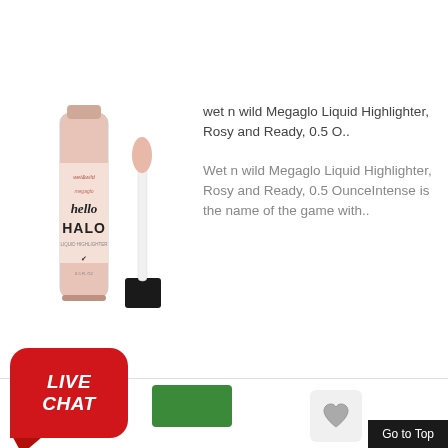[Figure (photo): wet n wild Megaglo Hello Halo liquid highlighter product photo showing bottle and applicator wand with rosy pink color]
wet n wild Megaglo Liquid Highlighter, Rosy and Ready, 0.5 O..
Wet n wild Megaglo Liquid Highlighter, Rosy and Ready, 0.5 OunceIntense is the name of the game with..
[Figure (logo): LIVE CHAT button with red rounded rectangle background and speech bubble arrow]
[Figure (other): Heart/favorite icon button in light gray rounded rectangle]
Go to Top